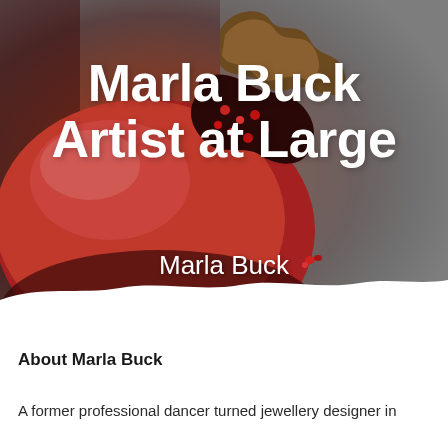[Figure (photo): Close-up photo of a split-open pomegranate with red skin and seeds visible, set against a dark grey background with liquid droplets]
Marla Buck Artist at Large
Marla Buck
About Marla Buck
A former professional dancer turned jewellery designer in